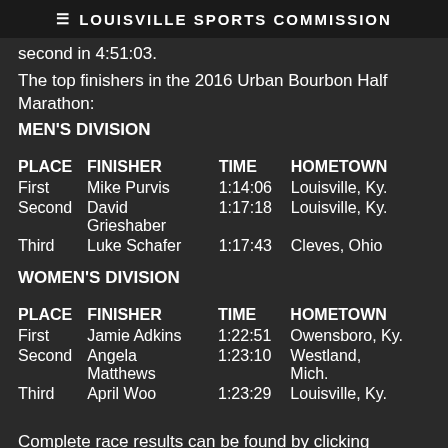≡ LOUISVILLE SPORTS COMMISSION
second in 4:51:03.
The top finishers in the 2016 Urban Bourbon Half Marathon:
MEN'S DIVISION
| PLACE | FINISHER | TIME | HOMETOWN |
| --- | --- | --- | --- |
| First | Mike Purvis | 1:14:06 | Louisville, Ky. |
| Second | David Grieshaber | 1:17:18 | Louisville, Ky. |
| Third | Luke Schafer | 1:17:43 | Cleves, Ohio |
WOMEN'S DIVISION
| PLACE | FINISHER | TIME | HOMETOWN |
| --- | --- | --- | --- |
| First | Jamie Adkins | 1:22:51 | Owensboro, Ky. |
| Second | Angela Matthews | 1:23:10 | Westland, Mich. |
| Third | April Woo | 1:23:29 | Louisville, Ky. |
Complete race results can be found by clicking